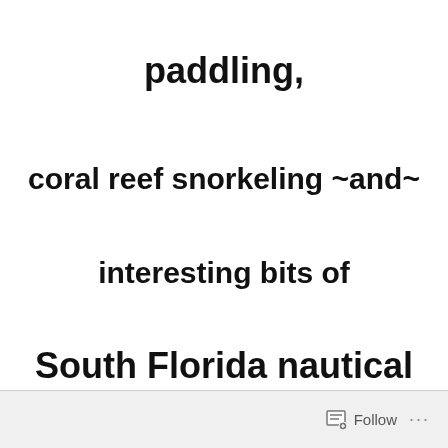paddling,
coral reef snorkeling ~and~
interesting bits of
South Florida nautical history with a
twist!
Follow ...